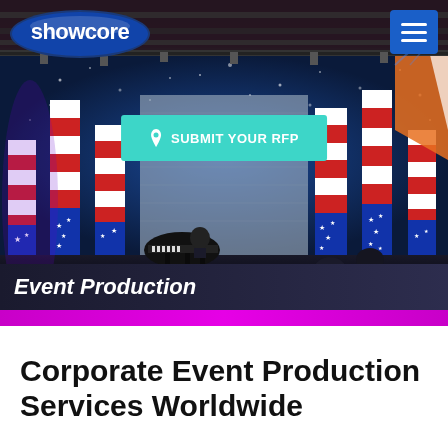showcore — navigation bar with logo and hamburger menu
[Figure (photo): Corporate event production stage photo with patriotic American flag pillars, piano player on stage, blue starfield backdrop, colorful LED lighting]
SUBMIT YOUR RFP
Event Production
Corporate Event Production Services Worldwide